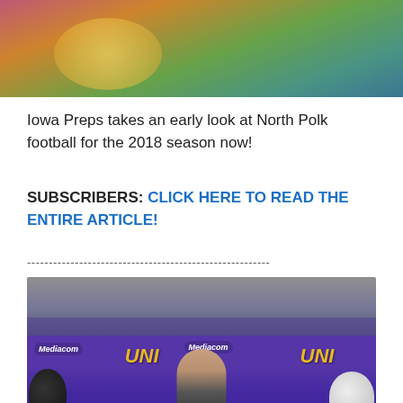[Figure (photo): Top portion of a photo showing colorful clothing or jerseys in pink, yellow, and green tones]
Iowa Preps takes an early look at North Polk football for the 2018 season now!
SUBSCRIBERS: CLICK HERE TO READ THE ENTIRE ARTICLE!
--------------------------------------------------------
[Figure (photo): Photo of a young football player standing in front of a UNI (University of Northern Iowa) purple backdrop with Mediacom logos, flanked by football helmets on either side. Social sharing bar at the bottom with Facebook, Twitter, Reddit, Email, and Print buttons.]